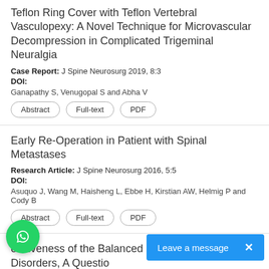Teflon Ring Cover with Teflon Vertebral Vasculopexy: A Novel Technique for Microvascular Decompression in Complicated Trigeminal Neuralgia
Case Report: J Spine Neurosurg 2019, 8:3
DOI:
Ganapathy S, Venugopal S and Abha V
Abstract | Full-text | PDF
Early Re-Operation in Patient with Spinal Metastases
Research Article: J Spine Neurosurg 2016, 5:5
DOI:
Asuquo J, Wang M, Haisheng L, Ebbe H, Kirstian AW, Helmig P and Cody B
Abstract | Full-text | PDF
onsiveness of the Balanced Inventory for Spinal Disorders, A Questio of Outcomes in Patients wi
[Figure (other): WhatsApp chat button (green circle with phone icon)]
Leave a message X